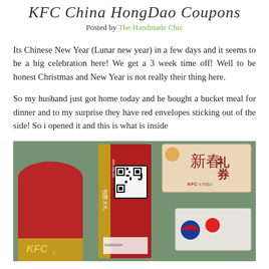KFC China HongDao Coupons
Posted by The Handmade Chic
Its Chinese New Year (Lunar new year) in a few days and it seems to be a big celebration here! We get a 3 week time off! Well to be honest Christmas and New Year is not really their thing here.
So my husband just got home today and he bought a bucket meal for dinner and to my surprise they have red envelopes sticking out of the side! So i opened it and this is what is inside
[Figure (photo): Photo showing KFC China HongDao coupons and red envelopes laid out on a green surface. Includes a large red envelope with KFC branding at the bottom, a tall red card with a QR code and gold stripe, a rectangular card with Chinese characters reading 新春礼券 (New Year gift voucher) with KFC logo, and a smaller white card at bottom right.]